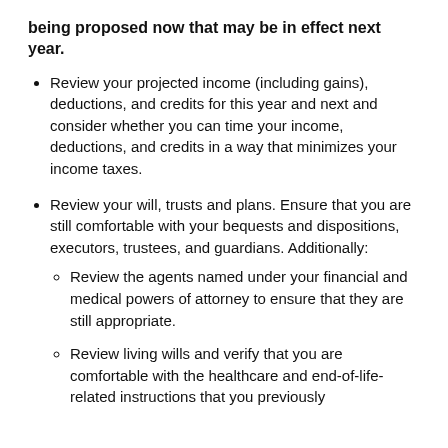being proposed now that may be in effect next year.
Review your projected income (including gains), deductions, and credits for this year and next and consider whether you can time your income, deductions, and credits in a way that minimizes your income taxes.
Review your will, trusts and plans. Ensure that you are still comfortable with your bequests and dispositions, executors, trustees, and guardians. Additionally:
Review the agents named under your financial and medical powers of attorney to ensure that they are still appropriate.
Review living wills and verify that you are comfortable with the healthcare and end-of-life-related instructions that you previously